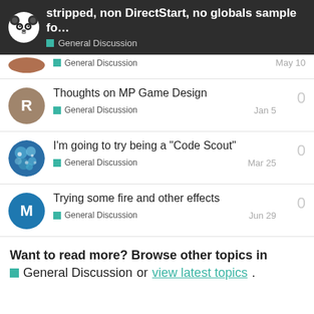stripped, non DirectStart, no globals sample fo... — General Discussion
General Discussion  May 10
Thoughts on MP Game Design — General Discussion  Jan 5  0
I'm going to try being a "Code Scout" — General Discussion  Mar 25  0
Trying some fire and other effects — General Discussion  Jun 29  0
Want to read more? Browse other topics in General Discussion or view latest topics.